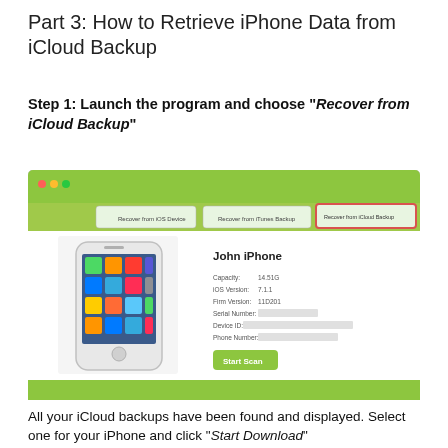Part 3: How to Retrieve iPhone Data from iCloud Backup
Step 1: Launch the program and choose “Recover from iCloud Backup”
[Figure (screenshot): Screenshot of iPhone data recovery software showing 'Recover from iCloud Backup' tab selected (highlighted in red), with John iPhone displayed showing device details: Capacity 14.51G, iOS Version 7.1.1, Firm Version 11D201, Serial Number, Device ID, Phone Number, and a green 'Start Scan' button.]
All your iCloud backups have been found and displayed. Select one for your iPhone and click “Start Download”